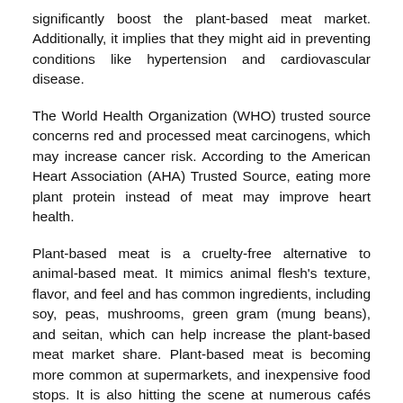significantly boost the plant-based meat market. Additionally, it implies that they might aid in preventing conditions like hypertension and cardiovascular disease.
The World Health Organization (WHO) trusted source concerns red and processed meat carcinogens, which may increase cancer risk. According to the American Heart Association (AHA) Trusted Source, eating more plant protein instead of meat may improve heart health.
Plant-based meat is a cruelty-free alternative to animal-based meat. It mimics animal flesh's texture, flavor, and feel and has common ingredients, including soy, peas, mushrooms, green gram (mung beans), and seitan, which can help increase the plant-based meat market share. Plant-based meat is becoming more common at supermarkets, and inexpensive food stops. It is also hitting the scene at numerous cafés the nation over.
Globally, food joints benefit from dealing with